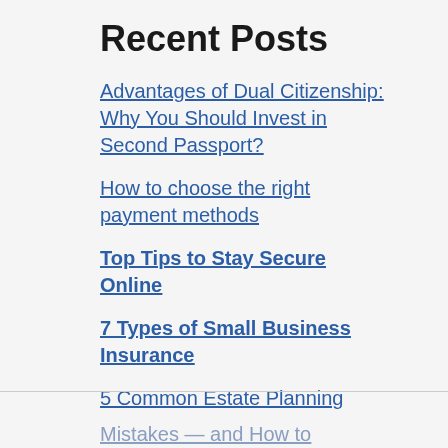Recent Posts
Advantages of Dual Citizenship: Why You Should Invest in Second Passport?
How to choose the right payment methods
Top Tips to Stay Secure Online
7 Types of Small Business Insurance
5 Common Estate Planning Mistakes — and How to